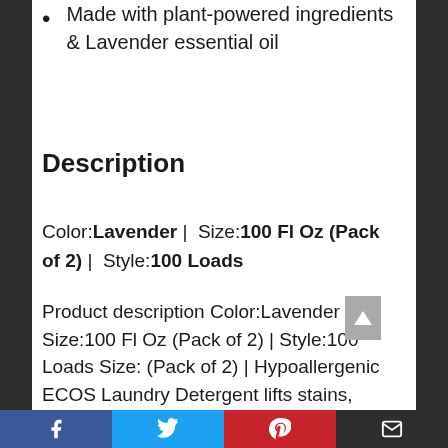Made with plant-powered ingredients & Lavender essential oil
Description
Color:Lavender |  Size:100 Fl Oz (Pack of 2) |  Style:100 Loads
Product description Color:Lavender | Size:100 Fl Oz (Pack of 2) | Style:100 Loads Size: (Pack of 2) | Hypoallergenic ECOS Laundry Detergent lifts stains, brightens whites and guards colors with plant power that's safer